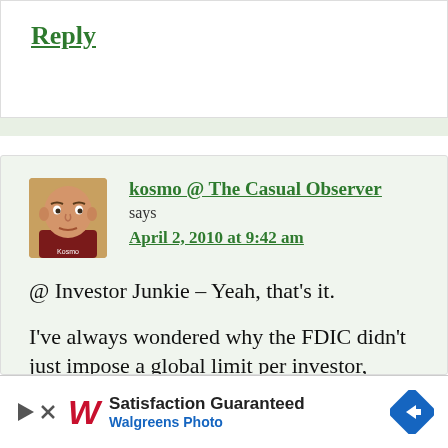Reply
kosmo @ The Casual Observer says
April 2, 2010 at 9:42 am
@ Investor Junkie – Yeah, that's it.

I've always wondered why the FDIC didn't just impose a global limit per investor, regardless of how many accounts they have. Using CDARs
[Figure (other): Walgreens Photo advertisement banner with Walgreens cursive logo, play button, text 'Satisfaction Guaranteed' and 'Walgreens Photo', and blue diamond arrow icon]